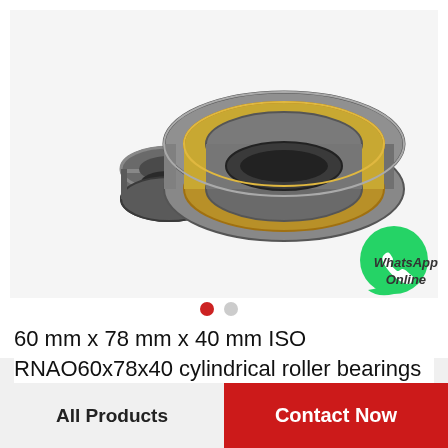[Figure (photo): Cylindrical roller bearing (RNAO60x78x40) showing two parts: the outer ring/retainer with rollers visible and the inner ring, photographed on white background. A WhatsApp Online icon (green phone bubble) is overlaid at bottom right.]
WhatsApp Online
60 mm x 78 mm x 40 mm ISO RNAO60x78x40 cylindrical roller bearings
All Products
Contact Now